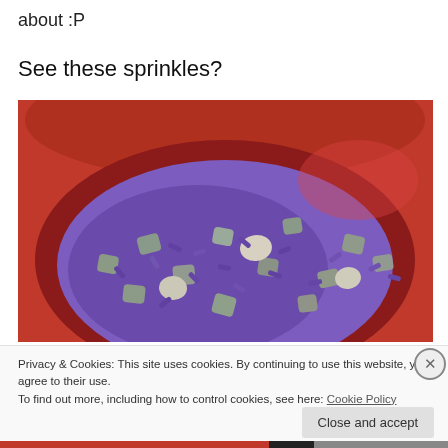about :P
See these sprinkles?
[Figure (photo): A red bowl filled with purple sprinkles and gray sugar crystals/rock candy pieces, viewed from above.]
Privacy & Cookies: This site uses cookies. By continuing to use this website, you agree to their use.
To find out more, including how to control cookies, see here: Cookie Policy